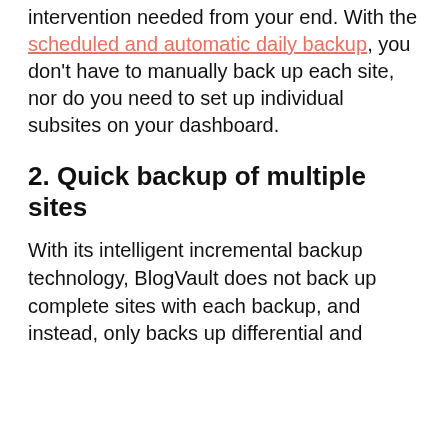intervention needed from your end. With the scheduled and automatic daily backup, you don't have to manually back up each site, nor do you need to set up individual subsites on your dashboard.
2. Quick backup of multiple sites
With its intelligent incremental backup technology, BlogVault does not back up complete sites with each backup, and instead, only backs up differential and